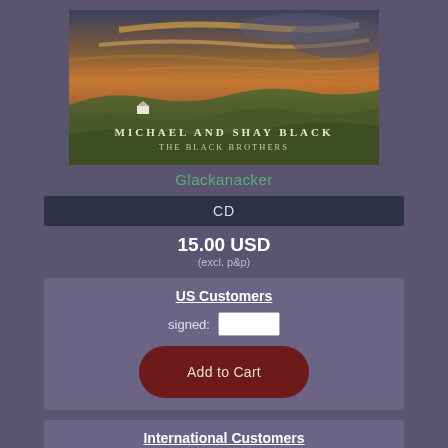[Figure (photo): Album cover for 'Glackanacker' by Michael and Shay Black - The Black Brothers. Landscape photo showing rolling hills under a dramatic sunset sky with clouds, a small white house visible in the distance. Text overlay reads 'MICHAEL AND SHAY BLACK' and 'THE BLACK BROTHERS'.]
Glackanacker
CD
15.00 USD
(excl. p&p)
US Customers
signed:
Add to Cart
International Customers